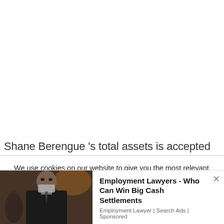Shane Berengue 's total assets is accepted to be
We use cookies on our website to give you the most relevant experience by remembering your preferences and repeat visits. By clicking "Accept All", you consent to the use of ALL the cookies. However, you may visit "Cookie Settings" to provide a controlled consent.
[Figure (photo): Man wearing a mask in a dark indoor setting, resembling a TV show character]
Employment Lawyers - Who Can Win Big Cash Settlements
Employment Lawyer | Search Ads | Sponsored